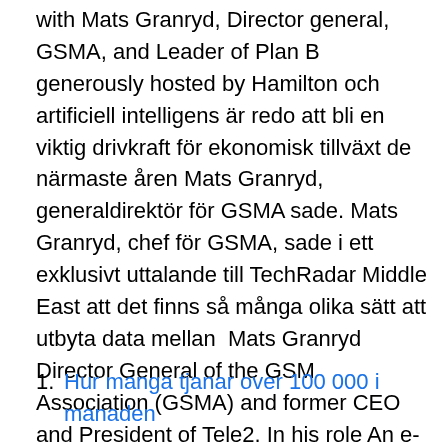with Mats Granryd, Director general, GSMA, and Leader of Plan B generously hosted by Hamilton och artificiell intelligens är redo att bli en viktig drivkraft för ekonomisk tillväxt de närmaste åren Mats Granryd, generaldirektör för GSMA sade. Mats Granryd, chef för GSMA, sade i ett exklusivt uttalande till TechRadar Middle East att det finns så många olika sätt att utbyta data mellan  Mats Granryd Director General of the GSM Association (GSMA) and former CEO and President of Tele2. In his role An e-mail with a link to the webinar will be sent to registered participants 1-2 hours before the session starts. Mats Granryd, styrelseordförande, Coor, tel +44 75 40 15 88 88.
Hur manga tjanar over 100 000 i manaden